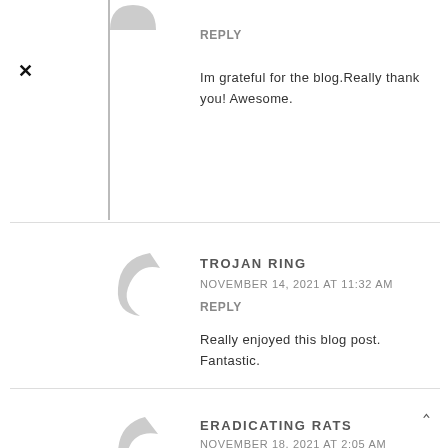REPLY
Im grateful for the blog.Really thank you! Awesome.
TROJAN RING
NOVEMBER 14, 2021 AT 11:32 AM
REPLY
Really enjoyed this blog post. Fantastic.
ERADICATING RATS
NOVEMBER 18, 2021 AT 2:05 AM